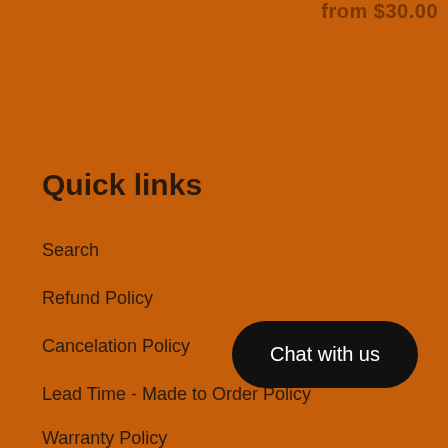from $30.00
Quick links
Search
Refund Policy
Cancelation Policy
Lead Time - Made to Order Policy
Warranty Policy
Chat with us